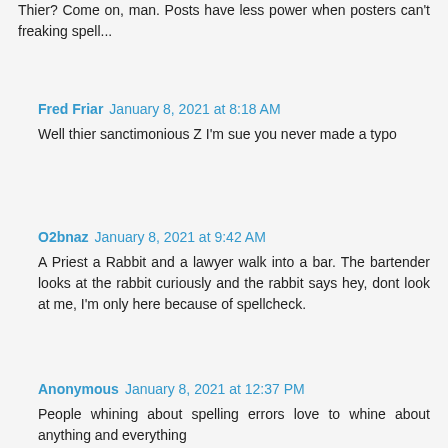Thier? Come on, man. Posts have less power when posters can't freaking spell...
Fred Friar January 8, 2021 at 8:18 AM
Well thier sanctimonious Z I'm sue you never made a typo
O2bnaz January 8, 2021 at 9:42 AM
A Priest a Rabbit and a lawyer walk into a bar. The bartender looks at the rabbit curiously and the rabbit says hey, dont look at me, I'm only here because of spellcheck.
Anonymous January 8, 2021 at 12:37 PM
People whining about spelling errors love to whine about anything and everything